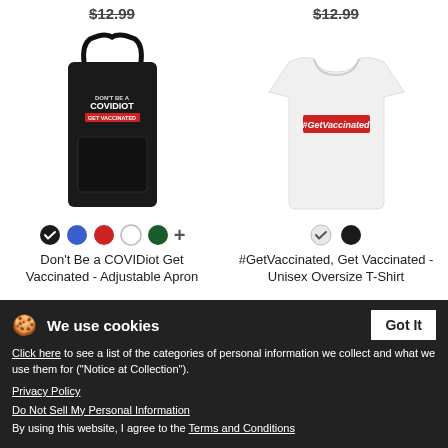$12.99
$12.99
[Figure (photo): Black adjustable apron with 'DON'T BE A COVIDIOT GET VACCINATED' text printed on it]
[Figure (photo): White unisex oversize t-shirt with red box '#GetVaccinated' text on chest]
Don't Be a COVIDiot Get Vaccinated - Adjustable Apron
#GetVaccinated, Get Vaccinated - Unisex Oversize T-Shirt
$20.49
$19.99
We use cookies
Click here to see a list of the categories of personal information we collect and what we use them for ("Notice at Collection").
Privacy Policy
Do Not Sell My Personal Information
By using this website, I agree to the Terms and Conditions